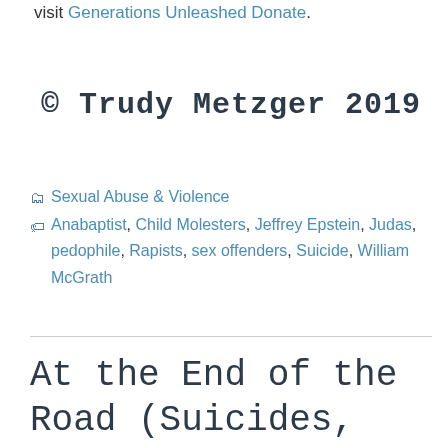visit Generations Unleashed Donate.
© Trudy Metzger 2019
Sexual Abuse & Violence
Anabaptist, Child Molesters, Jeffrey Epstein, Judas, pedophile, Rapists, sex offenders, Suicide, William McGrath
At the End of the Road (Suicides,